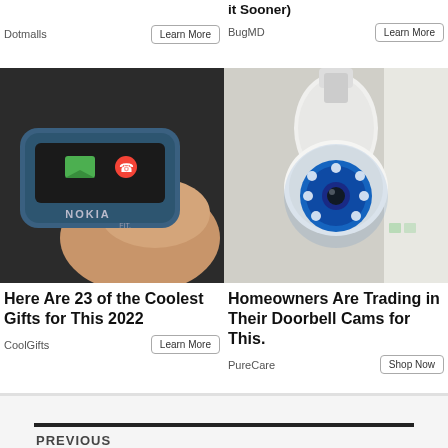Dotmalls
Learn More
it Sooner)
BugMD
Learn More
[Figure (photo): Close-up of a Nokia phone being held by fingers, showing a green message icon and red phone icon on the screen]
[Figure (photo): A white PTZ security camera with blue LED ring light, mounted on ceiling/wall, viewed from below]
Here Are 23 of the Coolest Gifts for This 2022
CoolGifts
Learn More
Homeowners Are Trading in Their Doorbell Cams for This.
PureCare
Shop Now
PREVIOUS